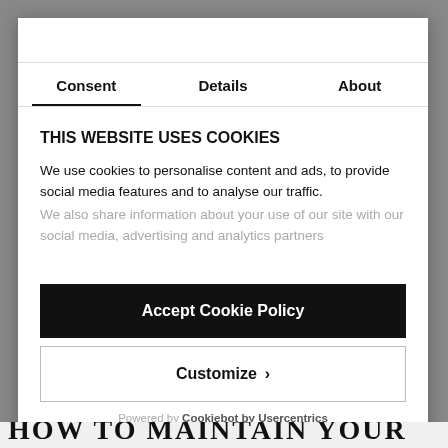Consent | Details | About
THIS WEBSITE USES COOKIES
We use cookies to personalise content and ads, to provide social media features and to analyse our traffic. We also share information about your use of our site with our social media, advertising and analytics partners
Accept Cookie Policy
Customize
Powered by Cookiebot by Usercentrics
HOW TO MAINTAIN YOUR